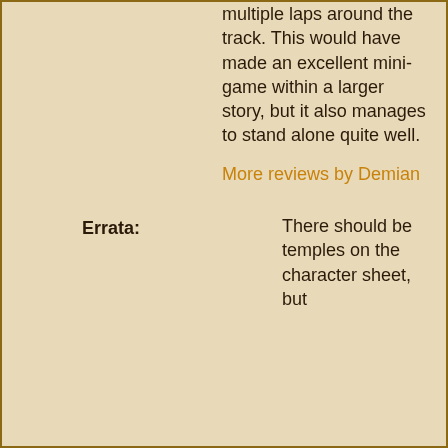multiple laps around the track. This would have made an excellent mini-game within a larger story, but it also manages to stand alone quite well.
More reviews by Demian
Errata: There should be temples on the character sheet, but